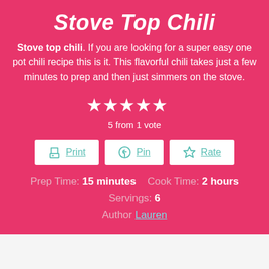Stove Top Chili
Stove top chili. If you are looking for a super easy one pot chili recipe this is it. This flavorful chili takes just a few minutes to prep and then just simmers on the stove.
[Figure (other): Five gold/white star rating icons]
5 from 1 vote
Print | Pin | Rate buttons
Prep Time: 15 minutes    Cook Time: 2 hours
Servings: 6
Author Lauren